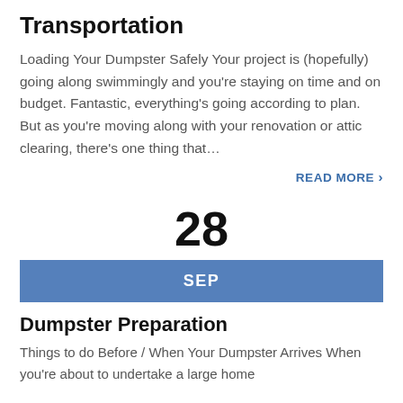Transportation
Loading Your Dumpster Safely Your project is (hopefully) going along swimmingly and you're staying on time and on budget. Fantastic, everything's going according to plan. But as you're moving along with your renovation or attic clearing, there's one thing that…
READ MORE >
28
SEP
Dumpster Preparation
Things to do Before / When Your Dumpster Arrives When you're about to undertake a large home